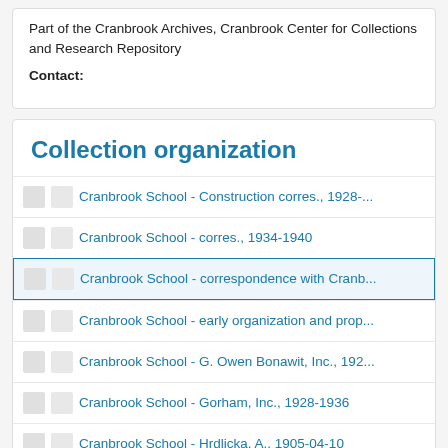Part of the Cranbrook Archives, Cranbrook Center for Collections and Research Repository
Contact:
Collection organization
Cranbrook School - Construction corres., 1928-...
Cranbrook School - corres., 1934-1940
Cranbrook School - correspondence with Cranb...
Cranbrook School - early organization and prop...
Cranbrook School - G. Owen Bonawit, Inc., 192...
Cranbrook School - Gorham, Inc., 1928-1936
Cranbrook School - Hrdlicka, A., 1905-04-10
Cranbrook School - Kennedy and Company, 19...
Cranbrook School - Manship, Paul, 1905-04-09